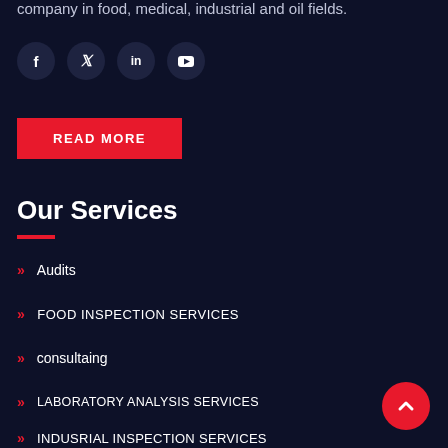company in food, medical, industrial and oil fields.
[Figure (illustration): Four social media icons (Facebook, Twitter, LinkedIn, YouTube) as dark circular buttons]
READ MORE
Our Services
Audits
FOOD INSPECTION SERVICES
consultaing
LABORATORY ANALYSIS SERVICES
INDUSRIAL INSPECTION SERVICES